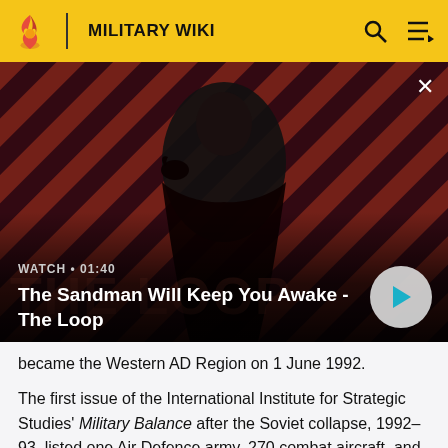MILITARY WIKI
[Figure (screenshot): Video thumbnail showing a dark-cloaked figure with a bird on shoulder against diagonal red and dark stripes background. Overlay text: WATCH • 01:40 and title 'The Sandman Will Keep You Awake - The Loop' with a play button.]
became the Western AD Region on 1 June 1992.
The first issue of the International Institute for Strategic Studies' Military Balance after the Soviet collapse, 1992–93, listed one Air Defence army, 270 combat aircraft, and seven regiments of Su-15s (90), MiG-23s (110) and MiG-